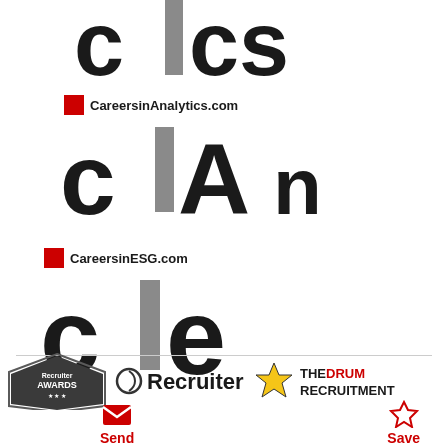[Figure (logo): Partial top of a 'cics' logo in large bold dark letters with a grey vertical bar between 'ci' and 'cs']
[Figure (logo): CareersInAnalytics.com logo with red square, brand text 'CareersinAnalytics.com', and large bold 'ciAn' letters with grey vertical bar for 'i']
[Figure (logo): CareersinESG.com logo with red square, brand text 'CareersinESG.com', and large bold 'cie' letters with grey vertical bar for 'i']
[Figure (logo): Footer bar with Recruiter Awards logo, Recruiter logo, and The Drum Recruitment logo]
[Figure (infographic): Send button with red envelope icon and 'Send' label in red]
[Figure (infographic): Save button with star outline icon and 'Save' label in red]